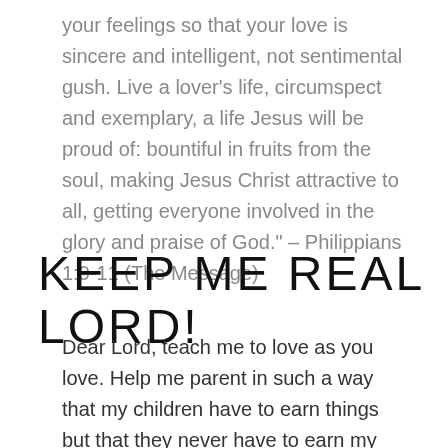your feelings so that your love is sincere and intelligent, not sentimental gush. Live a lover’s life, circumspect and exemplary, a life Jesus will be proud of: bountiful in fruits from the soul, making Jesus Christ attractive to all, getting everyone involved in the glory and praise of God.” – Philippians 1:9-11 (The Message)
KEEP ME REAL LORD!
Dear Lord, teach me to love as you love. Help me parent in such a way that my children have to earn things but that they never have to earn my love. Teach me to view my mate as you see them. I am totally